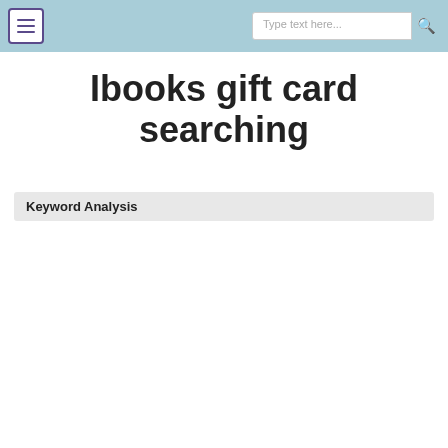Menu | Type text here... [search]
Ibooks gift card searching
Keyword Analysis
| Keyword | CPC | PCC | Volume | Score | Length of keyword |
| --- | --- | --- | --- | --- | --- |
| ibooks gift card | 0.03 | 0.7 | 7152 | 76 | 17 |
| ibooks | 0.65 | 0.8 | 9367 | 41 | 6 |
| gift | 0.06 | 0.3 | 982 | 96 | 4 |
| card | 1.58 | 0.8 | 5830 | 50 | 4 |